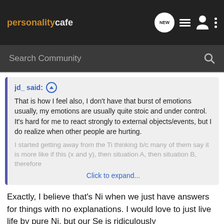personality cafe | NEW | [icons]
Search Community
jd_ said: ↑
That is how I feel also, I don't have that burst of emotions usually, my emotions are usually quite stoic and under control. It's hard for me to react strongly to external objects/events, but I do realize when other people are hurting.

I started getting away from the Ti thinking b/c many of them say it is more like if this (x and y), then situation A, then situation B, therefore
Click to expand...
Exactly, I believe that's Ni when we just have answers for things with no explanations. I would love to just live life by pure Ni, but our Se is ridiculously underdeveloped (at least for me)
Have you looked into Te? Maybe you're an INTJ? Because I